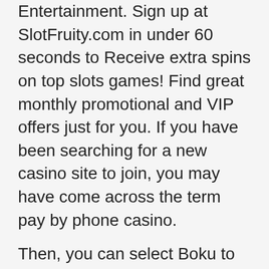Entertainment. Sign up at SlotFruity.com in under 60 seconds to Receive extra spins on top slots games! Find great monthly promotional and VIP offers just for you. If you have been searching for a new casino site to join, you may have come across the term pay by phone casino.
Then, you can select Boku to pay by phone and play loads of slots that they have in their library. It is basically the same site you can visit on your computer, but optimised for smartphones. This is the most popular method at the moment, supporting all platforms. Gamblers can get cash prizes, bonuses, and more, like in a desktop version. The other operating systems, such as Windows Phones and Blackberry, are also supported. However, they can only access a mobile site and not a dedicated app.